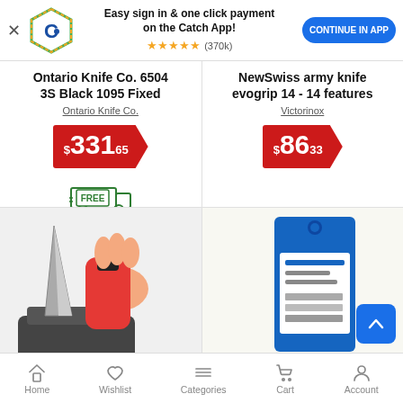[Figure (screenshot): App install banner with Catch.com.au logo, text 'Easy sign in & one click payment on the Catch App!', star rating ★★★★★ (370k), and 'CONTINUE IN APP' blue button]
Ontario Knife Co. 6504 3S Black 1095 Fixed
Ontario Knife Co.
$331.65
[Figure (illustration): Free shipping truck icon with FREE label]
NewSwiss army knife evogrip 14 - 14 features
Victorinox
$86.33
[Figure (photo): Hand holding a red and black knife sharpener device being used on a blade]
[Figure (photo): Utility knife blade pack in blue retail packaging]
Home  Wishlist  Categories  Cart  Account